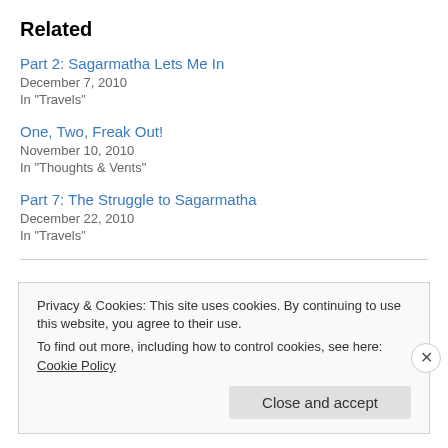Related
Part 2: Sagarmatha Lets Me In
December 7, 2010
In "Travels"
One, Two, Freak Out!
November 10, 2010
In "Thoughts & Vents"
Part 7: The Struggle to Sagarmatha
December 22, 2010
In "Travels"
Privacy & Cookies: This site uses cookies. By continuing to use this website, you agree to their use.
To find out more, including how to control cookies, see here: Cookie Policy
Close and accept